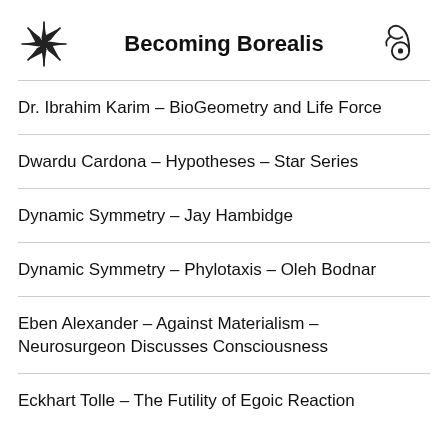Becoming Borealis
Dr. Ibrahim Karim – BioGeometry and Life Force
Dwardu Cardona – Hypotheses – Star Series
Dynamic Symmetry – Jay Hambidge
Dynamic Symmetry – Phylotaxis – Oleh Bodnar
Eben Alexander – Against Materialism – Neurosurgeon Discusses Consciousness
Eckhart Tolle – The Futility of Egoic Reaction